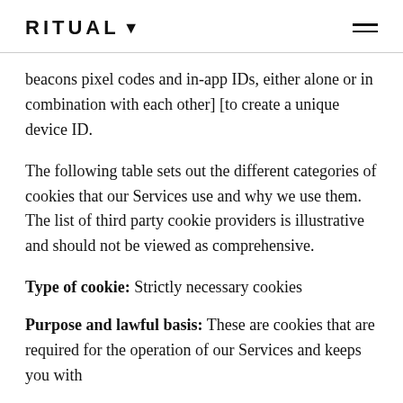RITUAL
beacons pixel codes and in-app IDs, either alone or in combination with each other] [to create a unique device ID.
The following table sets out the different categories of cookies that our Services use and why we use them. The list of third party cookie providers is illustrative and should not be viewed as comprehensive.
Type of cookie: Strictly necessary cookies
Purpose and lawful basis: These are cookies that are required for the operation of our Services and keeps you with